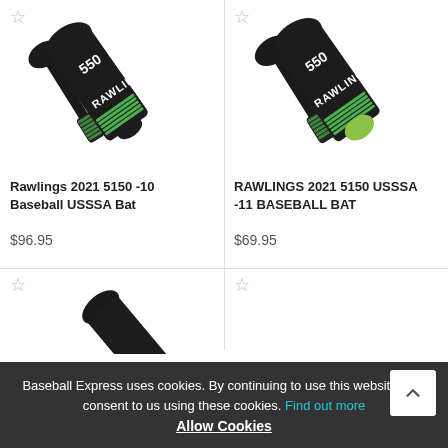[Figure (photo): Rawlings 2021 5150 -10 Baseball USSSA Bat product image showing two black baseball bats with green grip]
Rawlings 2021 5150 -10 Baseball USSSA Bat
$96.95
[Figure (photo): RAWLINGS 2021 5150 USSSA -11 BASEBALL BAT product image showing two black baseball bats with green grip and green knob]
RAWLINGS 2021 5150 USSSA -11 BASEBALL BAT
$69.95
[Figure (photo): Partial view of a baseball bat at bottom left]
[Figure (photo): Partial view of a baseball bat at bottom right]
Baseball Express uses cookies. By continuing to use this website, you consent to us using these cookies. Find out more
Allow Cookies